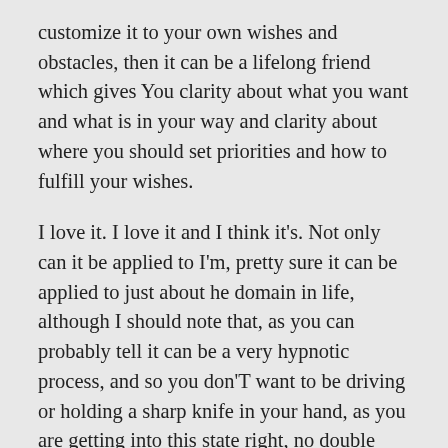customize it to your own wishes and obstacles, then it can be a lifelong friend which gives You clarity about what you want and what is in your way and clarity about where you should set priorities and how to fulfill your wishes.
I love it. I love it and I think it's. Not only can it be applied to I'm, pretty sure it can be applied to just about he domain in life, although I should note that, as you can probably tell it can be a very hypnotic process, and so you don'T want to be driving or holding a sharp knife in your hand, as you are getting into this state right, no double tasking so leave the world out.
I mean you can when you do draw quarry or you do some some kind of yeah when you, when you walk that's, really nice. You can do that, but work not in